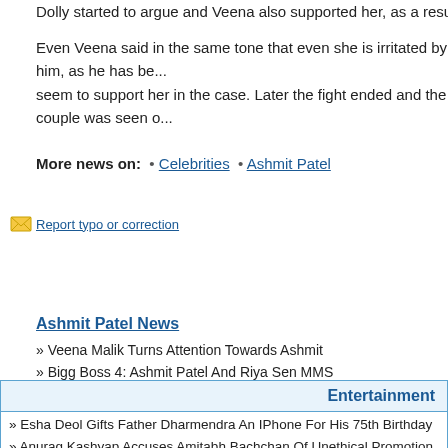Dolly started to argue and Veena also supported her, as a result of this scene, A...
Even Veena said in the same tone that even she is irritated by him, as he has be... seem to support her in the case. Later the fight ended and the couple was seen o...
More news on: • Celebrities • Ashmit Patel
Report typo or correction
Ashmit Patel News
» Veena Malik Turns Attention Towards Ashmit
» Bigg Boss 4: Ashmit Patel And Riya Sen MMS
Entertainment
» Esha Deol Gifts Father Dharmendra An IPhone For His 75th Birthday
» Anurag Kashyap Accuses Amitabh Bachchan Of Unethical Promotion Of Abhish...
» Harbhajan Singh & Geeta Basra Back Together
» Vishal Bharadwaj Offers Karan Johar The Role Of Sex Maniac